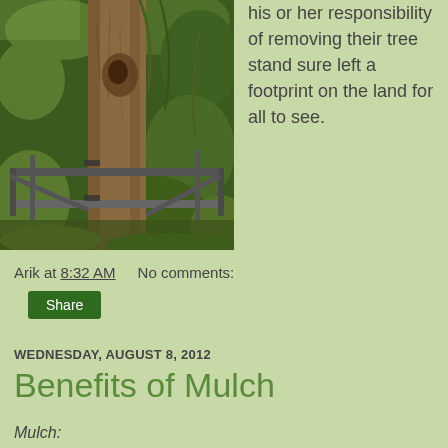[Figure (photo): A metal tree stand attached to a large tree trunk, surrounded by dense green foliage and brush.]
his or her responsibility of removing their tree stand sure left a footprint on the land for all to see.
Arik at 8:32 AM    No comments:
Share
WEDNESDAY, AUGUST 8, 2012
Benefits of Mulch
Mulch:
n.